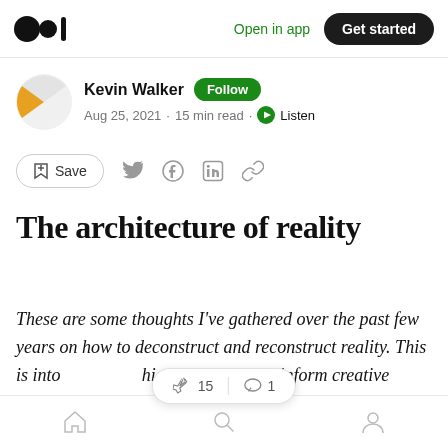Medium logo | Open in app | Get started
Kevin Walker · Follow · Aug 25, 2021 · 15 min read · Listen
Save (share icons)
The architecture of reality
These are some thoughts I've gathered over the past few years on how to deconstruct and reconstruct reality. This is into ... hical grounding to inform creative practice, written mainly for a
Home · Search · Profile